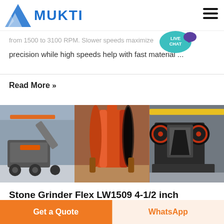MUKTI
from 1500 to 3100 RPM. Slower speeds maximize precision while high speeds help with fast material ...
Read More »
[Figure (photo): Three industrial machinery photos side by side: mobile crusher/screen plant in workshop, large red cylindrical drum/kiln, jaw crusher machine in factory]
Stone Grinder Flex LW1509 4-1/2 inch Center Water Feed ...
Get a Quote
WhatsApp